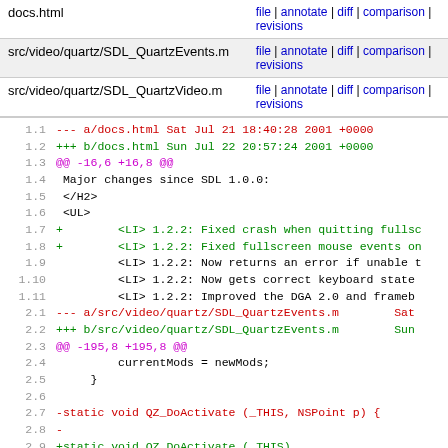| filename | links |
| --- | --- |
| docs.html | file | annotate | diff | comparison | revisions |
| src/video/quartz/SDL_QuartzEvents.m | file | annotate | diff | comparison | revisions |
| src/video/quartz/SDL_QuartzVideo.m | file | annotate | diff | comparison | revisions |
Diff code block showing changes to docs.html, SDL_QuartzEvents.m, and SDL_QuartzVideo.m files